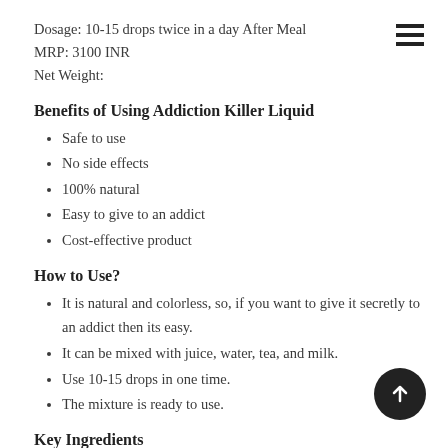Dosage: 10-15 drops twice in a day After Meal
MRP: 3100 INR
Net Weight:
Benefits of Using Addiction Killer Liquid
Safe to use
No side effects
100% natural
Easy to give to an addict
Cost-effective product
How to Use?
It is natural and colorless, so, if you want to give it secretly to an addict then its easy.
It can be mixed with juice, water, tea, and milk.
Use 10-15 drops in one time.
The mixture is ready to use.
Key Ingredients